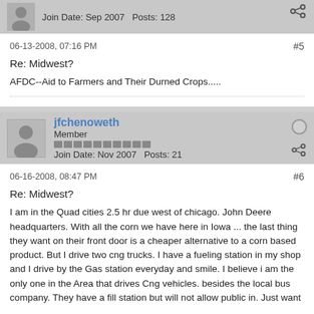Join Date: Sep 2007   Posts: 128
06-13-2008, 07:16 PM
#5
Re: Midwest?
AFDC--Aid to Farmers and Their Durned Crops.....
jfchenoweth
Member
Join Date: Nov 2007   Posts: 21
06-16-2008, 08:47 PM
#6
Re: Midwest?
I am in the Quad cities 2.5 hr due west of chicago. John Deere headquarters. With all the corn we have here in Iowa ... the last thing they want on their front door is a cheaper alternative to a corn based product. But I drive two cng trucks. I have a fueling station in my shop and I drive by the Gas station everyday and smile. I believe i am the only one in the Area that drives Cng vehicles. besides the local bus company. They have a fill station but will not allow public in. Just want